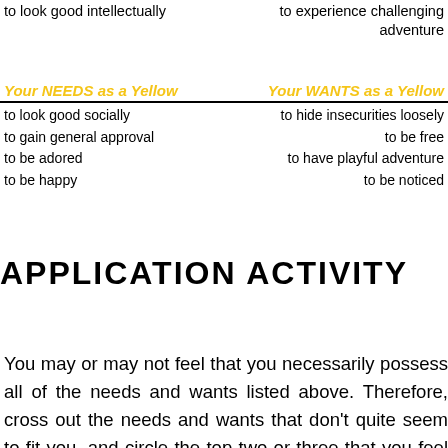to look good intellectually
to experience challenging adventure
Your NEEDS as a Yellow
Your WANTS as a Yellow
to look good socially
to hide insecurities loosely
to gain general approval
to be free
to be adored
to have playful adventure
to be happy
to be noticed
APPLICATION ACTIVITY
You may or may not feel that you necessarily possess all of the needs and wants listed above. Therefore, cross out the needs and wants that don't quite seem to fit you, and circle the top two or three that you feel a